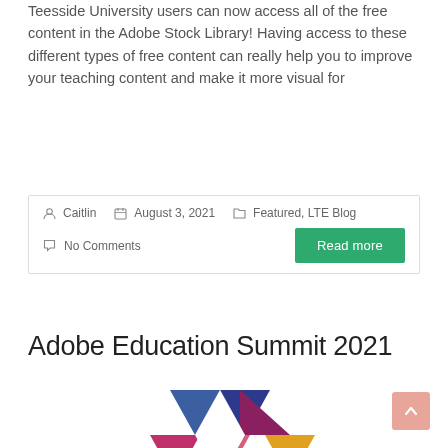Teesside University users can now access all of the free content in the Adobe Stock Library! Having access to these different types of free content can really help you to improve your teaching content and make it more visual for
Caitlin  August 3, 2021  Featured, LTE Blog  No Comments
Adobe Education Summit 2021
[Figure (illustration): Adobe Education Summit 2021 logo — colorful geometric triangles arranged in a pinwheel/flower pattern with blues, purples, pinks, reds, oranges, yellows, and greens.]